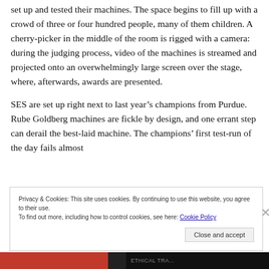set up and tested their machines. The space begins to fill up with a crowd of three or four hundred people, many of them children. A cherry-picker in the middle of the room is rigged with a camera: during the judging process, video of the machines is streamed and projected onto an overwhelmingly large screen over the stage, where, afterwards, awards are presented.
SES are set up right next to last year's champions from Purdue. Rube Goldberg machines are fickle by design, and one errant step can derail the best-laid machine. The champions' first test-run of the day fails almost
Privacy & Cookies: This site uses cookies. By continuing to use this website, you agree to their use.
To find out more, including how to control cookies, see here: Cookie Policy